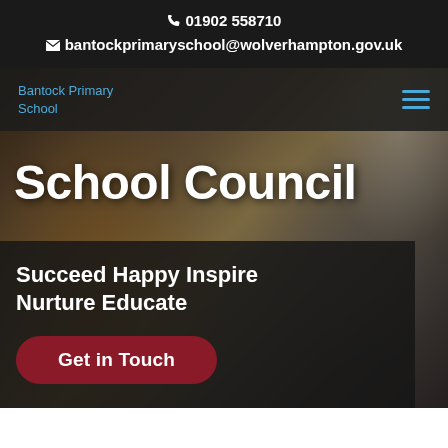📞 01902 558710
✉ bantockprimaryschool@wolverhampton.gov.uk
Bantock Primary School
School Council
Succeed Happy Inspire Nurture Educate
Get in Touch